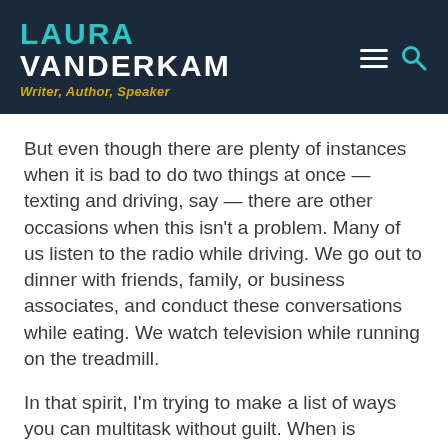LAURA VANDERKAM — Writer, Author, Speaker
But even though there are plenty of instances when it is bad to do two things at once — texting and driving, say — there are other occasions when this isn't a problem. Many of us listen to the radio while driving. We go out to dinner with friends, family, or business associates, and conduct these conversations while eating. We watch television while running on the treadmill.
In that spirit, I'm trying to make a list of ways you can multitask without guilt. When is multitasking a smart arrow in the productive person's quiver?